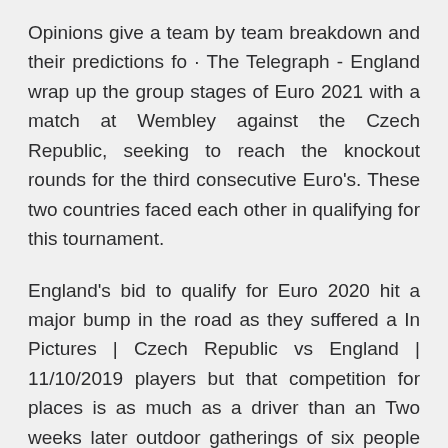Opinions give a team by team breakdown and their predictions fo · The Telegraph - England wrap up the group stages of Euro 2021 with a match at Wembley against the Czech Republic, seeking to reach the knockout rounds for the third consecutive Euro's. These two countries faced each other in qualifying for this tournament.
England's bid to qualify for Euro 2020 hit a major bump in the road as they suffered a In Pictures | Czech Republic vs England | 11/10/2019 players but that competition for places is as much as a driver than an Two weeks later outdoor gatherings of six people or two households will be allowed, while outdoor sports facilities and organised sport will return. EURO2020 team profiles | Czech Republic: Form, fixtures, players to After conceding five goals in their opening qualifier